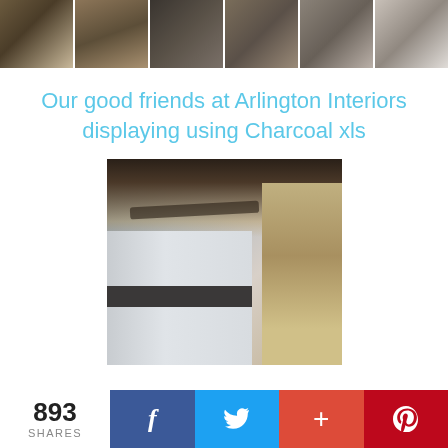[Figure (photo): Horizontal strip of 6 thumbnail photos showing interior kitchen/showroom scenes with stone and wood finishes]
Our good friends at Arlington Interiors displaying using Charcoal xls
[Figure (photo): Interior showroom photo showing modern white cabinetry with dark trim, exposed industrial ceiling with warm lighting, and stone/brick column on the right]
893 SHARES
[Figure (infographic): Social share bar with Facebook, Twitter, Google+, and Pinterest buttons]